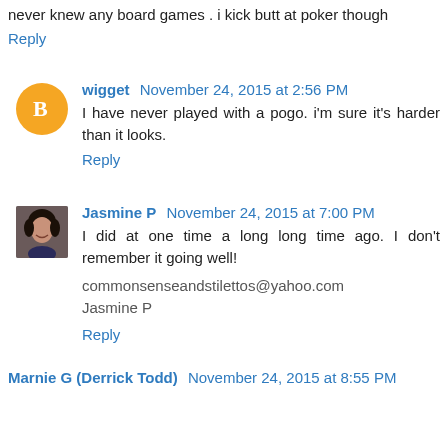never knew any board games . i kick butt at poker though
Reply
wigget November 24, 2015 at 2:56 PM
I have never played with a pogo. i'm sure it's harder than it looks.
Reply
Jasmine P November 24, 2015 at 7:00 PM
I did at one time a long long time ago. I don't remember it going well!
commonsenseandstilettos@yahoo.com
Jasmine P
Reply
Marnie G (Derrick Todd) November 24, 2015 at 8:55 PM